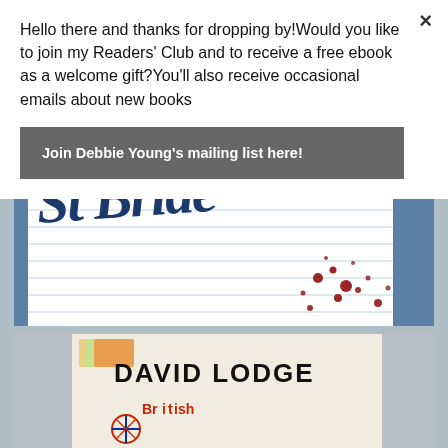Hello there and thanks for dropping by!Would you like to join my Readers' Club and to receive a free ebook as a welcome gift?You'll also receive occasional emails about new books
Join Debbie Young's mailing list here!
[Figure (photo): Book cover of 'St Bride's' showing dark blue stylized text on lined paper background with blood spatter marks]
[Figure (photo): Book by David Lodge showing white book cover with 'DAVID LODGE' text and partial title visible]